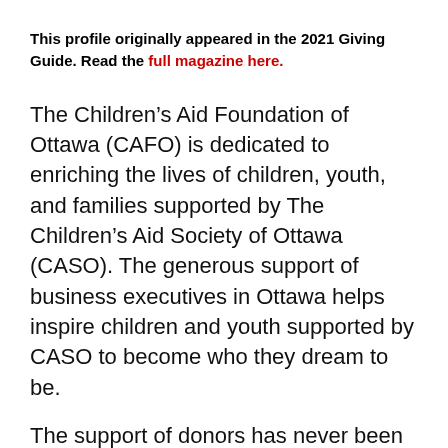This profile originally appeared in the 2021 Giving Guide. Read the full magazine here.
The Children's Aid Foundation of Ottawa (CAFO) is dedicated to enriching the lives of children, youth, and families supported by The Children's Aid Society of Ottawa (CASO). The generous support of business executives in Ottawa helps inspire children and youth supported by CASO to become who they dream to be.
The support of donors has never been more important. Covid-19 has created additional stress for families supported by CASO. Many parents continue to struggle to keep their